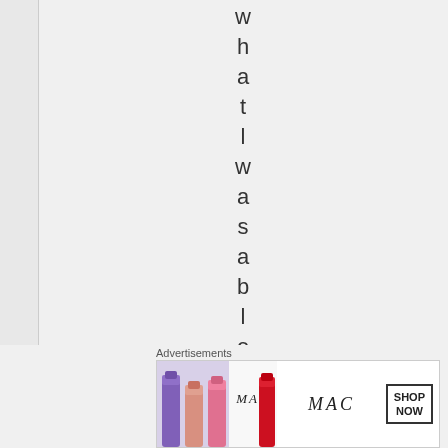what l was a b l e t
Advertisements
[Figure (photo): Advertisement banner for MAC cosmetics showing lipsticks in purple, pink, and red colors with MAC logo and SHOP NOW button]